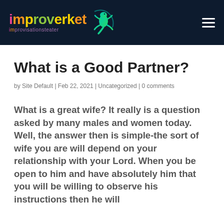[Figure (logo): Improverket improvisationsteater logo with colorful text and gecko illustration on dark navy header bar]
What is a Good Partner?
by Site Default | Feb 22, 2021 | Uncategorized | 0 comments
What is a great wife? It really is a question asked by many males and women today. Well, the answer then is simple-the sort of wife you are will depend on your relationship with your Lord. When you be open to him and have absolutely him that you will be willing to observe his instructions then he will